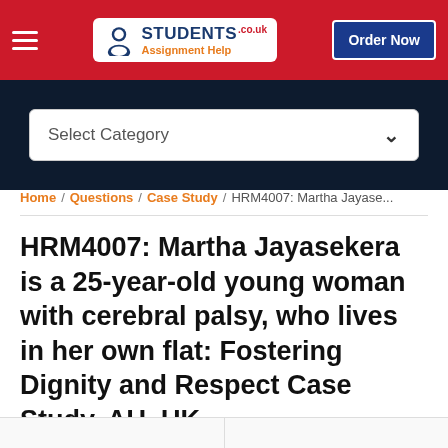[Figure (screenshot): Website header with red background, hamburger menu icon on the left, Students Assignment Help logo in center, and Order Now button on the right]
[Figure (screenshot): Dark navy navigation band with a Select Category dropdown]
Home / Questions / Case Study / HRM4007: Martha Jayase...
HRM4007: Martha Jayasekera is a 25-year-old young woman with cerebral palsy, who lives in her own flat: Fostering Dignity and Respect Case Study, AU, UK
[Figure (screenshot): Request Plagiarism Free Answer button in dark blue]